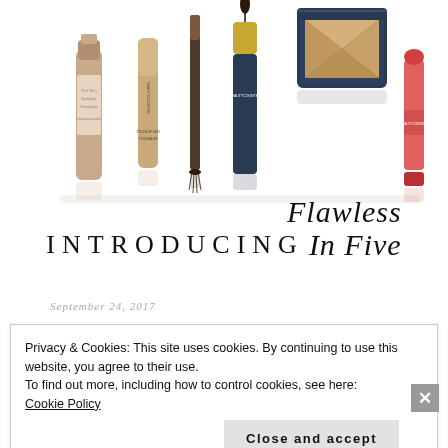[Figure (photo): Row of beauty/cosmetic products including foundation bottle, concealer stick, eyebrow pencil, mascara tube, bronzer compact, and lip color stick, arranged in a line on a white background with slight reflections.]
INTRODUCING Flawless In Five
September 24, 2017
Privacy & Cookies: This site uses cookies. By continuing to use this website, you agree to their use.
To find out more, including how to control cookies, see here: Cookie Policy
Close and accept